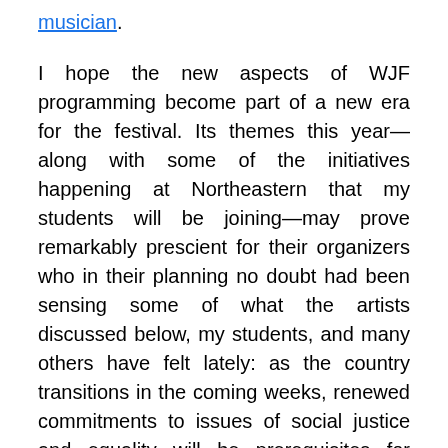musician.
I hope the new aspects of WJF programming become part of a new era for the festival. Its themes this year—along with some of the initiatives happening at Northeastern that my students will be joining—may prove remarkably prescient for their organizers who in their planning no doubt had been sensing some of what the artists discussed below, my students, and many others have felt lately: as the country transitions in the coming weeks, renewed commitments to issues of social justice and equality will be prerequisites for suturing the deep cultural fissures that have been exposed by the most recent presidential campaign.
As a soundtrack for my semester prep, I spent the first few days of the new year listening back to some of the most compelling jazz records of 2016, a hall of great fame from...